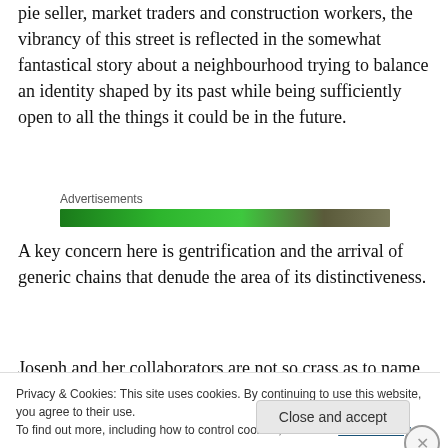pie seller, market traders and construction workers, the vibrancy of this street is reflected in the somewhat fantastical story about a neighbourhood trying to balance an identity shaped by its past while being sufficiently open to all the things it could be in the future.
[Figure (other): Advertisements banner — a green gradient horizontal bar labeled 'Advertisements']
A key concern here is gentrification and the arrival of generic chains that denude the area of its distinctiveness.
Joseph and her collaborators are not so crass as to name...
Privacy & Cookies: This site uses cookies. By continuing to use this website, you agree to their use.
To find out more, including how to control cookies, see here: Cookie Policy